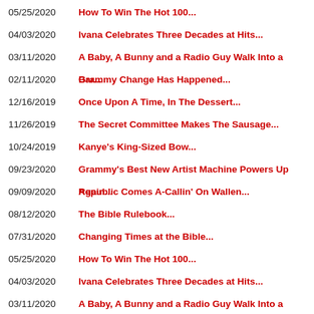05/25/2020 How To Win The Hot 100...
04/03/2020 Ivana Celebrates Three Decades at Hits...
03/11/2020 A Baby, A Bunny and a Radio Guy Walk Into a Bar...
02/11/2020 Grammy Change Has Happened...
12/16/2019 Once Upon A Time, In The Dessert...
11/26/2019 The Secret Committee Makes The Sausage...
10/24/2019 Kanye's King-Sized Bow...
09/23/2020 Grammy's Best New Artist Machine Powers Up Again...
09/09/2020 Republic Comes A-Callin' On Wallen...
08/12/2020 The Bible Rulebook...
07/31/2020 Changing Times at the Bible...
05/25/2020 How To Win The Hot 100...
04/03/2020 Ivana Celebrates Three Decades at Hits...
03/11/2020 A Baby, A Bunny and a Radio Guy Walk Into a Bar...
02/11/2020 Grammy Change Has Happened...
12/16/2019 Once Upon A Time, In The Dessert...